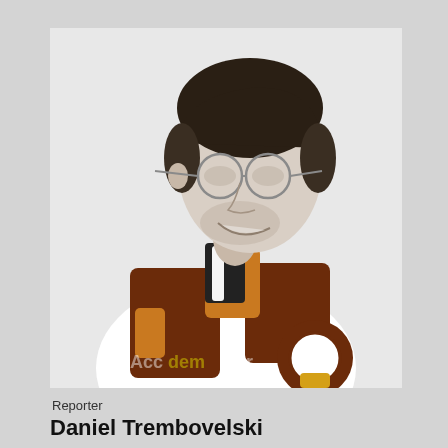[Figure (photo): Black and white portrait photo of a young man with short dark hair, round glasses, and a beard stubble, smiling and looking to the right. He is wearing a colorful patterned shirt with brown, orange, and white geometric/abstract designs. A watermark reading 'Accordem per' is visible at the bottom of the image.]
Reporter
Daniel Trembovelski